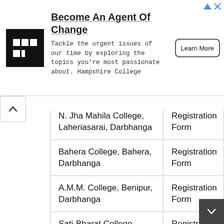[Figure (logo): Hampshire College logo — white grid/square icon on black background]
Become An Agent Of Change
Tackle the urgent issues of our time by exploring the topics you're most passionate about. Hampshire College
Learn More
| College | Form |
| --- | --- |
| N. Jha Mahila College, Laheriasarai, Darbhanga | Registration Form |
| Bahera College, Bahera, Darbhanga | Registration Form |
| A.M.M. College, Benipur, Darbhanga | Registration Form |
| Sati-Bharat College, Parari, Darbhanga | Registration Form |
| Q.A. Degree College, Jale, Darbhanga. | Registration Form |
| R.L.M. College, Jhanjibarnur | Registration Form |